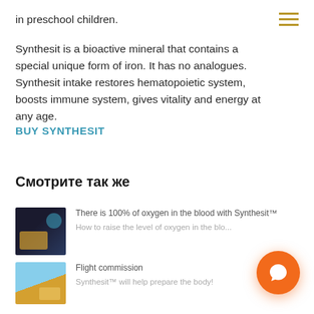in preschool children.

Synthesit is a bioactive mineral that contains a special unique form of iron. It has no analogues. Synthesit intake restores hematopoietic system, boosts immune system, gives vitality and energy at any age.
BUY SYNTHESIT
Смотрите так же
There is 100% of oxygen in the blood with Synthesit™
How to raise the level of oxygen in the blo...
Flight commission
Synthesit™ will help prepare the body!